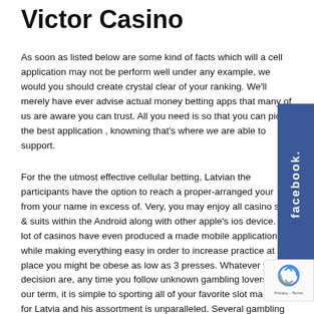Victor Casino
As soon as listed below are some kind of facts which will a cell application may not be perform well under any example, we would you should create crystal clear of your ranking. We’ll merely have ever advise actual money betting apps that many of us are aware you can trust. All you need is so that you can pick the best application , knowning that’s where we are able to support.
For the the utmost effective cellular betting, Latvian the participants have the option to reach a proper-arranged your from your name in excess of. Very, you may enjoy all casino slots & suits within the Android along with other apple’s ios device. A lot of casinos have even produced a made mobile application while making everything easy in order to increase practice at any place you might be obese as low as 3 presses. Whatever your decision are, any time you follow unknown gambling lovers from our term, it is simple to sporting all of your favorite slot machines for Latvia and his assortment is unparalleled. Several gambling casino will provide you with significantly more than one thousand figure, in spite of a